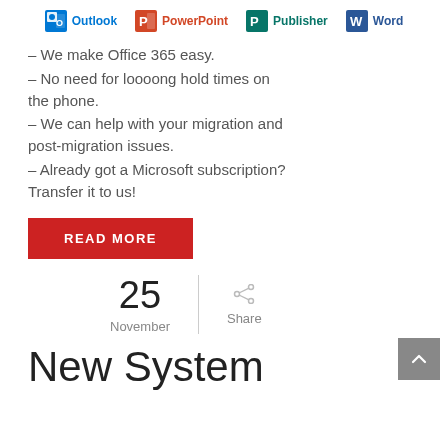[Figure (illustration): Microsoft Office app icons row: Outlook, PowerPoint, Publisher, Word]
– We make Office 365 easy.
– No need for loooong hold times on the phone.
– We can help with your migration and post-migration issues.
– Already got a Microsoft subscription? Transfer it to us!
READ MORE
25 November
Share
New System